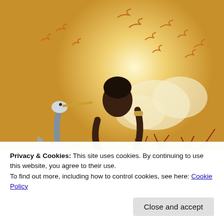[Figure (illustration): Comic book style illustration of a dark-skinned woman in a golden outfit standing atop rocks with a lion, a large heron bird to her left, birds flying in the background, and a bare red tree. The color palette is warm golden/sepia tones.]
Privacy & Cookies: This site uses cookies. By continuing to use this website, you agree to their use.
To find out more, including how to control cookies, see here: Cookie Policy
Close and accept